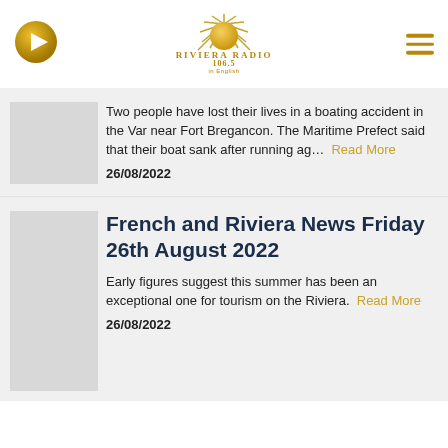Riviera Radio 106.5 in English
Two people have lost their lives in a boating accident in the Var near Fort Bregancon. The Maritime Prefect said that their boat sank after running ag… Read More
26/08/2022
French and Riviera News Friday 26th August 2022
Early figures suggest this summer has been an exceptional one for tourism on the Riviera. Read More
26/08/2022